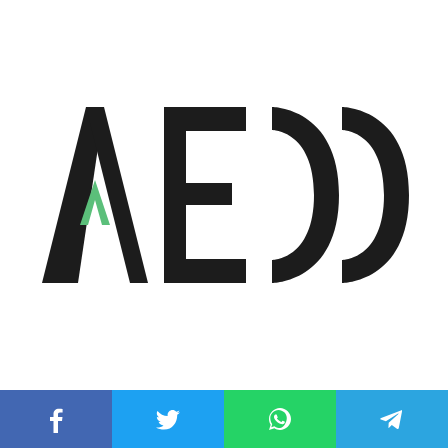[Figure (logo): AECC logo: stylized letter A with a green chevron accent, followed by bold letters E, C, C in dark charcoal/black]
[Figure (infographic): Social media sharing bar with four buttons: Facebook (blue), Twitter (light blue), WhatsApp (green), Telegram (blue)]